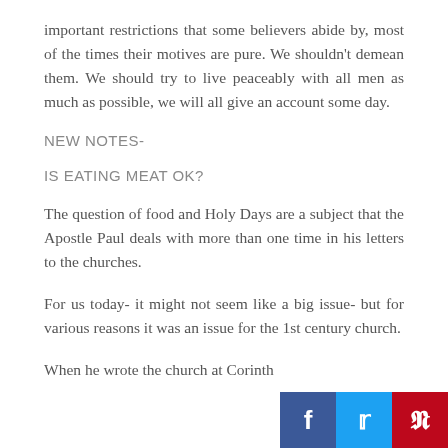important restrictions that some believers abide by, most of the times their motives are pure. We shouldn't demean them. We should try to live peaceably with all men as much as possible, we will all give an account some day.
NEW NOTES-
IS EATING MEAT OK?
The question of food and Holy Days are a subject that the Apostle Paul deals with more than one time in his letters to the churches.
For us today- it might not seem like a big issue- but for various reasons it was an issue for the 1st century church.
When he wrote the church at Corinth